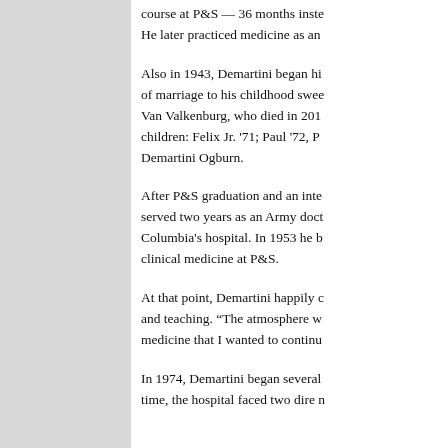course at P&S — 36 months inste... He later practiced medicine as an...
Also in 1943, Demartini began hi... of marriage to his childhood swee... Van Valkenburg, who died in 201... children: Felix Jr. '71; Paul '72, P... Demartini Ogburn.
After P&S graduation and an inte... served two years as an Army doct... Columbia's hospital. In 1953 he b... clinical medicine at P&S.
At that point, Demartini happily c... and teaching. "The atmosphere w... medicine that I wanted to continu...
In 1974, Demartini began several... time, the hospital faced two dire n...